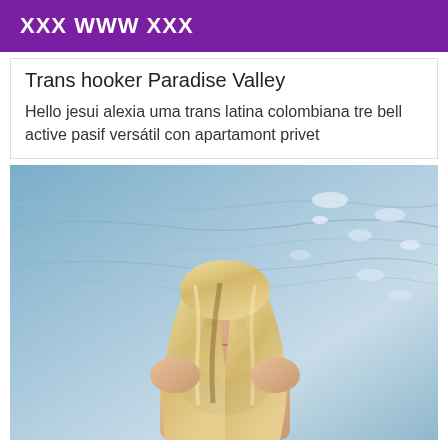XXX WWW XXX
Trans hooker Paradise Valley
Hello jesui alexia uma trans latina colombiana tre bell active pasif versátil con apartamont privet
[Figure (photo): Blonde woman smiling near water background with light reflections]